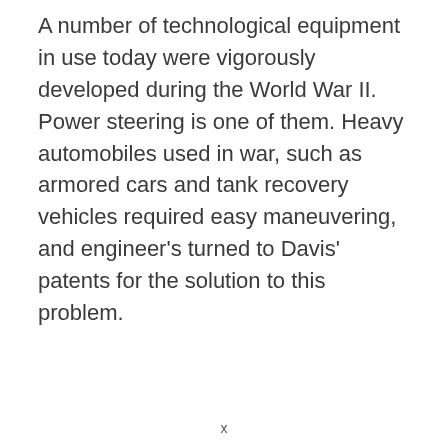A number of technological equipment in use today were vigorously developed during the World War II. Power steering is one of them. Heavy automobiles used in war, such as armored cars and tank recovery vehicles required easy maneuvering, and engineer's turned to Davis' patents for the solution to this problem.
x